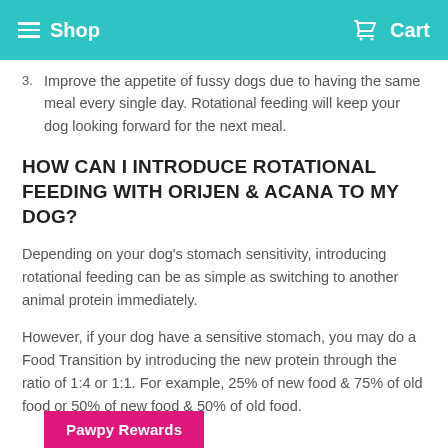Shop  Cart
3. Improve the appetite of fussy dogs due to having the same meal every single day. Rotational feeding will keep your dog looking forward for the next meal.
HOW CAN I INTRODUCE ROTATIONAL FEEDING WITH ORIJEN & ACANA TO MY DOG?
Depending on your dog’s stomach sensitivity, introducing rotational feeding can be as simple as switching to another animal protein immediately.
However, if your dog have a sensitive stomach, you may do a Food Transition by introducing the new protein through the ratio of 1:4 or 1:1. For example, 25% of new food & 75% of old food or 50% of new food & 50% of old food.
Pawpy Rewards